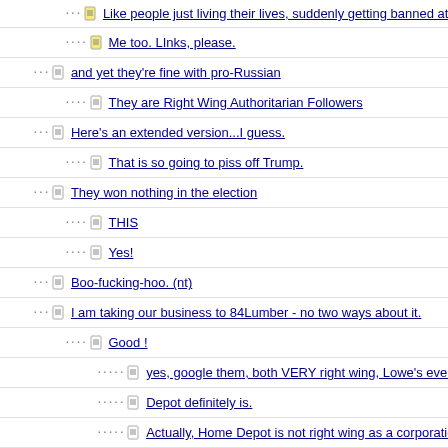Like people just living their lives, suddenly getting banned at
Me too. LInks, please.
and yet they're fine with pro-Russian
They are Right Wing Authoritarian Followers
Here's an extended version...I guess.
That is so going to piss off Trump.
They won nothing in the election
THIS
Yes!
Boo-fucking-hoo. (nt)
I am taking our business to 84Lumber - no two ways about it.
Good !
yes, google them, both VERY right wing, Lowe's ever worse
Depot definitely is.
Actually, Home Depot is not right wing as a corporation
Susan Komen is not a good charity
Susan Konen is still funding Planned Parenthood
4 years of bad hair lol
Laughed my fanny off...at this one.
Before I came to this thread, Mr. pig and I were commenting on the
...